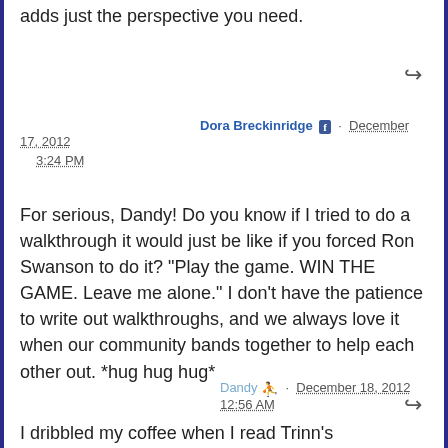adds just the perspective you need.
Dora Breckinridge · December 17, 2012 3:24 PM
For serious, Dandy! Do you know if I tried to do a walkthrough it would just be like if you forced Ron Swanson to do it? "Play the game. WIN THE GAME. Leave me alone." I don't have the patience to write out walkthroughs, and we always love it when our community bands together to help each other out. *hug hug hug*
Dandy · December 18, 2012 12:56 AM
I dribbled my coffee when I read Trinn's